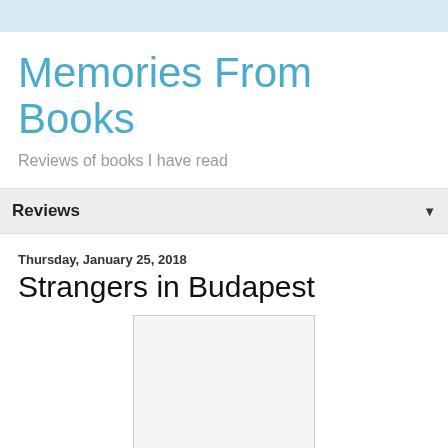Memories From Books
Reviews of books I have read
Reviews
Thursday, January 25, 2018
Strangers in Budapest
[Figure (photo): Book cover placeholder — white/light gray rectangle with a thin border]